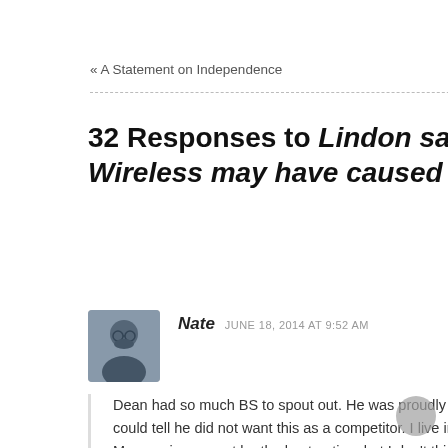« A Statement on Independence
32 Responses to Lindon says no to Milestone Wireless may have caused it
Nate  JUNE 18, 2014 AT 9:52 AM
Dean had so much BS to spout out. He was proudly w... could tell he did not want this as a competitor. I live in ... Macquarie may not be the best option, but I don't think... want it to go dark. If my fiber gets shut off I am probab... Comcast or CenturyLink and I sure don't want flakey w... get to the node down the street. Latency nightmare. Lots of misinformed residents. They are brainwashed a...